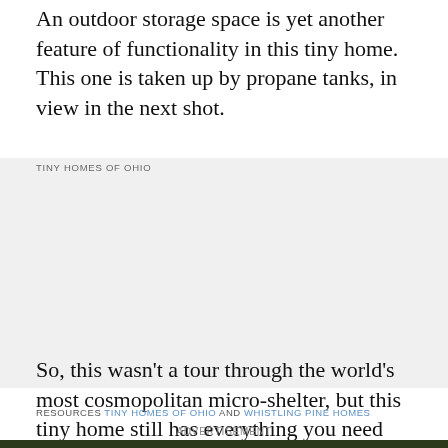An outdoor storage space is yet another feature of functionality in this tiny home. This one is taken up by propane tanks, in view in the next shot.
TINY HOMES OF OHIO
[Figure (photo): Gray/white placeholder image area representing a photo of propane tanks outside a tiny home]
So, this wasn't a tour through the world's most cosmopolitan micro-shelter, but this tiny home still has everything you need and then some.
RESOURCES TINY HOMES OF OHIO AND WHISTLING PINE HOMES
ADVERTISEMENT
[Figure (photo): Bottom portion of page showing a photo of a house roof with trees in background]